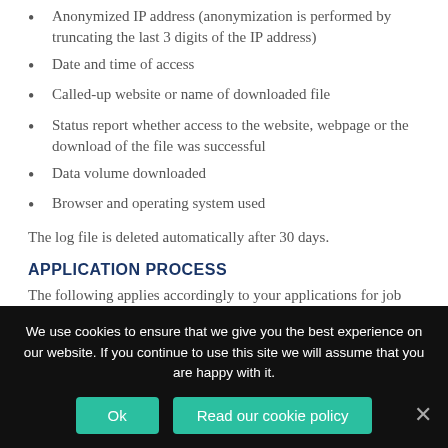Anonymized IP address (anonymization is performed by truncating the last 3 digits of the IP address)
Date and time of access
Called-up website or name of downloaded file
Status report whether access to the website, webpage or the download of the file was successful
Data volume downloaded
Browser and operating system used
The log file is deleted automatically after 30 days.
APPLICATION PROCESS
The following applies accordingly to your applications for job offers available on our website or your unsolicited applications
We use cookies to ensure that we give you the best experience on our website. If you continue to use this site we will assume that you are happy with it.